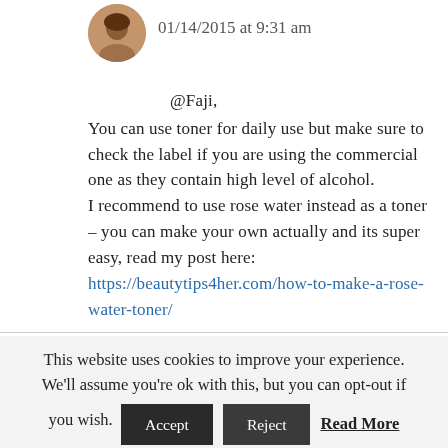[Figure (photo): Round avatar photo of a woman with dark hair]
01/14/2015 at 9:31 am
@Faji,
You can use toner for daily use but make sure to check the label if you are using the commercial one as they contain high level of alcohol.
I recommend to use rose water instead as a toner – you can make your own actually and its super easy, read my post here:
https://beautytips4her.com/how-to-make-a-rose-water-toner/
This website uses cookies to improve your experience. We'll assume you're ok with this, but you can opt-out if you wish. Accept Reject Read More